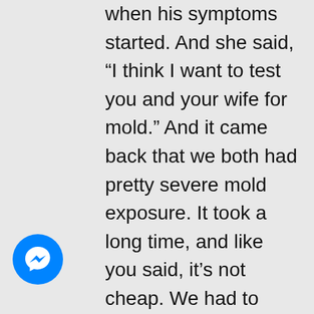when his symptoms started. And she said, “I think I want to test you and your wife for mold.” And it came back that we both had pretty severe mold exposure. It took a long time, and like you said, it’s not cheap. We had to remediate our home; it took almost a year. We had the cost of remediating the
[Figure (logo): Facebook Messenger blue circle icon with white lightning bolt/chat symbol]